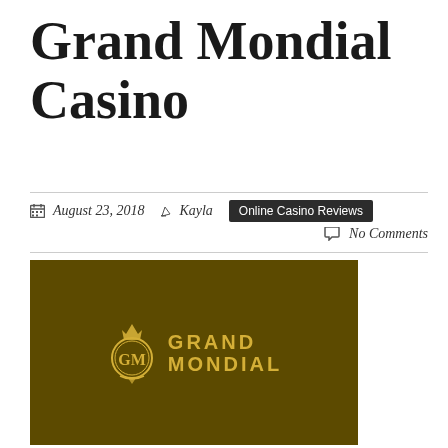Grand Mondial Casino
August 23, 2018  Kayla  Online Casino Reviews  No Comments
[Figure (logo): Grand Mondial Casino logo — gold GM emblem with crown and 'GRAND MONDIAL' text in gold on dark olive/brown background]